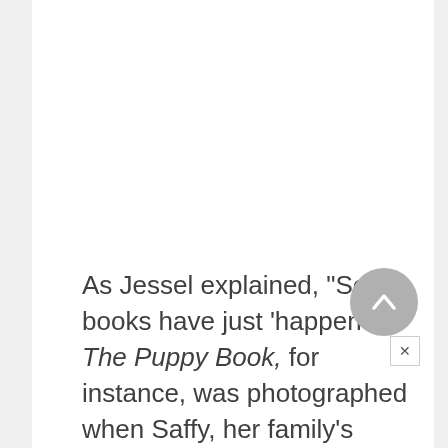As Jessel explained, "Some books have just 'happened.'" The Puppy Book, for instance, was photographed when Saffy, her family's Labrador retriever, gave birth to nine puppies. Jessel's children also figure in the